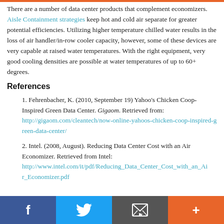There are a number of data center products that complement economizers. Aisle Containment strategies keep hot and cold air separate for greater potential efficiencies. Utilizing higher temperature chilled water results in the loss of air handler/in-row cooler capacity, however, some of these devices are very capable at raised water temperatures. With the right equipment, very good cooling densities are possible at water temperatures of up to 60+ degrees.
References
1. Fehrenbacher, K. (2010, September 19) Yahoo's Chicken Coop-Inspired Green Data Center. Gigaom. Retrieved from: http://gigaom.com/cleantech/now-online-yahoos-chicken-coop-inspired-green-data-center/
2. Intel. (2008, August). Reducing Data Center Cost with an Air Economizer. Retrieved from Intel: http://www.intel.com/it/pdf/Reducing_Data_Center_Cost_with_an_Air_Economizer.pdf
Facebook | Twitter | Email | Plus